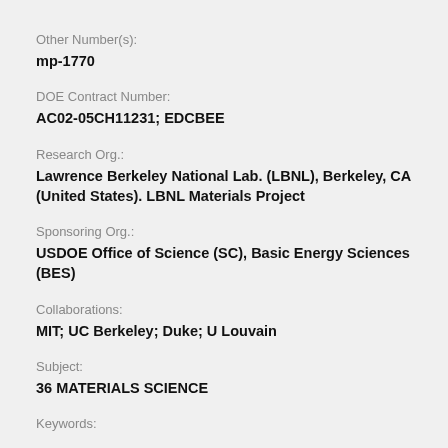Other Number(s):
mp-1770
DOE Contract Number:
AC02-05CH11231; EDCBEE
Research Org.:
Lawrence Berkeley National Lab. (LBNL), Berkeley, CA (United States). LBNL Materials Project
Sponsoring Org.:
USDOE Office of Science (SC), Basic Energy Sciences (BES)
Collaborations:
MIT; UC Berkeley; Duke; U Louvain
Subject:
36 MATERIALS SCIENCE
Keywords: